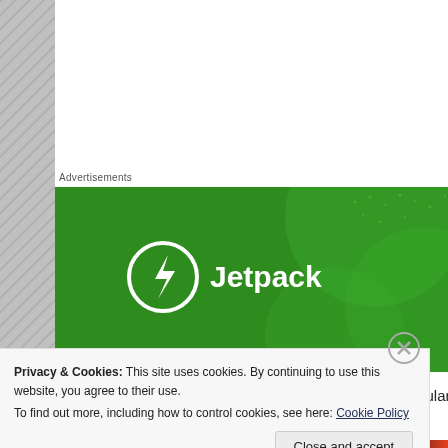[Figure (screenshot): Advertisements label above a Jetpack advertisement banner with green background, white Jetpack logo and text]
Now! On to some tips and tricks I've learned in no particular ord…
Privacy & Cookies: This site uses cookies. By continuing to use this website, you agree to their use.
To find out more, including how to control cookies, see here: Cookie Policy
Close and accept